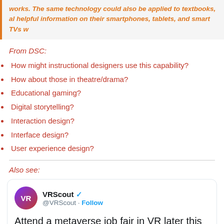works. The same technology could also be applied to textbooks, al helpful information on their smartphones, tablets, and smart TVs w
From DSC:
How might instructional designers use this capability?
How about those in theatre/drama?
Educational gaming?
Digital storytelling?
Interaction design?
Interface design?
User experience design?
Also see:
[Figure (screenshot): Tweet from VRScout (@VRScout) with Follow button. Text reads: Attend a metaverse job fair in VR later this mo... vrscout.com/news/attend-a-]